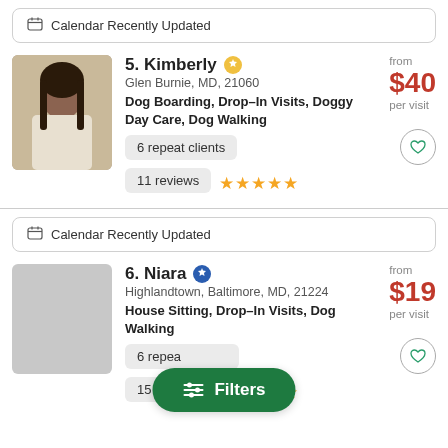Calendar Recently Updated
5. Kimberly · Glen Burnie, MD, 21060 · Dog Boarding, Drop–In Visits, Doggy Day Care, Dog Walking · from $40 per visit · 6 repeat clients · 11 reviews ★★★★★
Calendar Recently Updated
6. Niara · Highlandtown, Baltimore, MD, 21224 · House Sitting, Drop–In Visits, Dog Walking · from $19 per visit · 6 repeat clients · 15 reviews ★★★★★
Filters